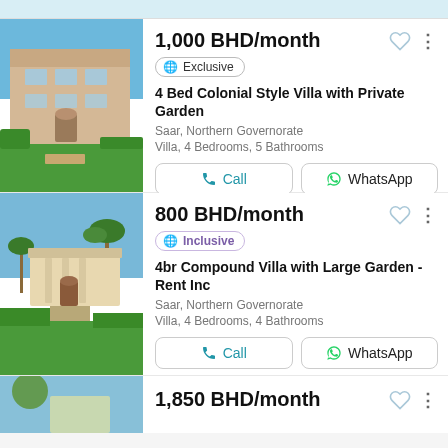[Figure (photo): Colonial style villa with cream facade and green lawn, outdoor photo]
1,000 BHD/month
Exclusive
4 Bed Colonial Style Villa with Private Garden
Saar, Northern Governorate
Villa, 4 Bedrooms, 5 Bathrooms
[Figure (photo): Compound villa with large garden, palm trees and green lawn, outdoor photo]
800 BHD/month
Inclusive
4br Compound Villa with Large Garden - Rent Inc
Saar, Northern Governorate
Villa, 4 Bedrooms, 4 Bathrooms
1,850 BHD/month